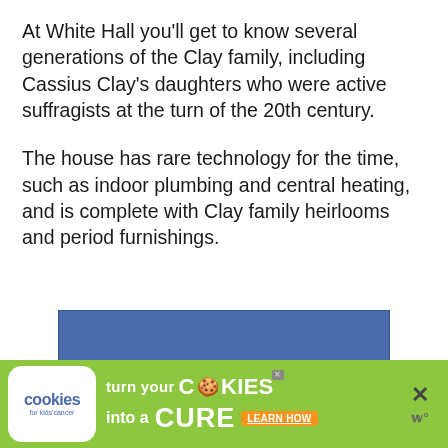At White Hall you'll get to know several generations of the Clay family, including Cassius Clay's daughters who were active suffragists at the turn of the 20th century.
The house has rare technology for the time, such as indoor plumbing and central heating, and is complete with Clay family heirlooms and period furnishings.
[Figure (other): A solid blue-gray rectangle, likely an advertisement or image placeholder banner.]
[Figure (infographic): Advertisement banner with green background. Features a 'cookies for kids cancer' badge on the left. Text reads 'turn your COOKIES into a CURE LEARN HOW'. A close button (X) is on the right side with a small 'w' logo below it.]